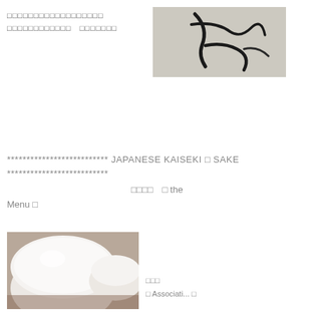□□□□□□□□□□□□□□□□□□ □□□□□□□□□□□□　□□□□□□□
[Figure (photo): Close-up photo of Japanese calligraphy brushstroke characters in black ink on white/grey paper]
************************** JAPANESE KAISEKI □ SAKE **************************
□□□□　□ the
Menu □
[Figure (photo): Close-up photo of white ceramic sake cups/bowls]
□□□
□ Associati... □